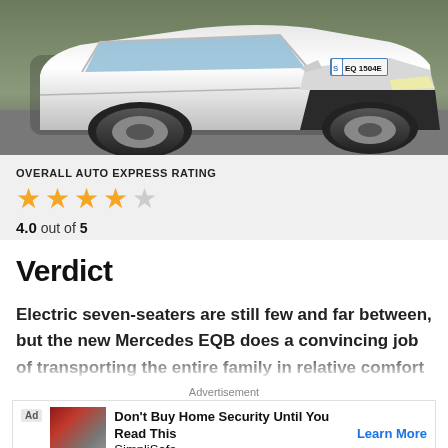[Figure (photo): Front view of a white Mercedes EQB SUV driving on a road, license plate S EQ 1504E visible]
OVERALL AUTO EXPRESS RATING
4.0 out of 5 (4 filled stars, 1 empty star)
Verdict
Electric seven-seaters are still few and far between, but the new Mercedes EQB does a convincing job of transporting the entire family in relative comfort – without any tailpipe emissions. The EQB is dripping with
Advertisement
Don't Buy Home Security Until You Read This SimplliSafe   Learn More